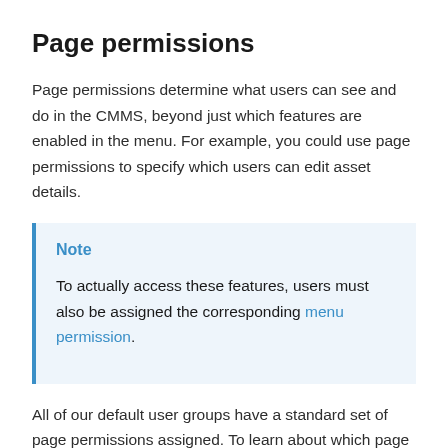Page permissions
Page permissions determine what users can see and do in the CMMS, beyond just which features are enabled in the menu. For example, you could use page permissions to specify which users can edit asset details.
Note
To actually access these features, users must also be assigned the corresponding menu permission.
All of our default user groups have a standard set of page permissions assigned. To learn about which page permissions are assigned to which groups by default,